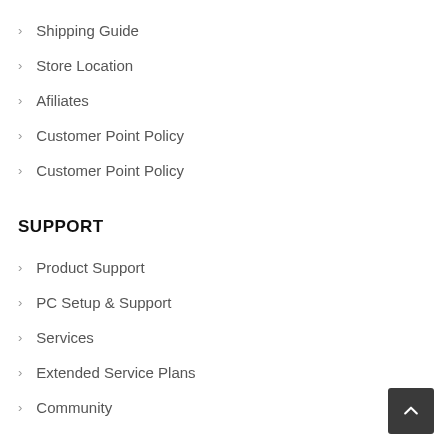Shipping Guide
Store Location
Afiliates
Customer Point Policy
Customer Point Policy
SUPPORT
Product Support
PC Setup & Support
Services
Extended Service Plans
Community